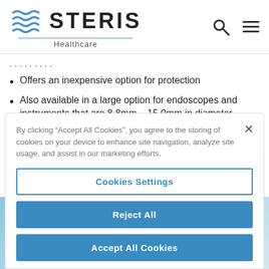[Figure (logo): STERIS Healthcare logo with wave graphic]
Offers an inexpensive option for protection
Also available in a large option for endoscopes and instruments that are 8.8mm – 15.0mm in diameter
RELATED PRODUCTS
By clicking “Accept All Cookies”, you agree to the storing of cookies on your device to enhance site navigation, analyze site usage, and assist in our marketing efforts.